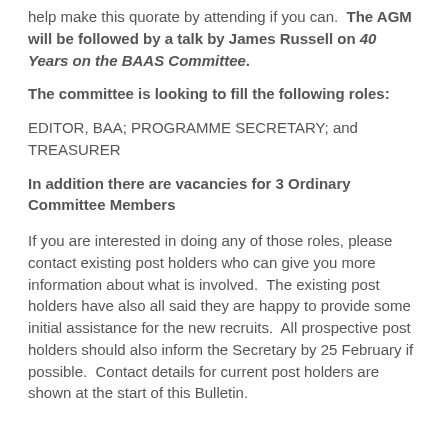help make this quorate by attending if you can.  The AGM will be followed by a talk by James Russell on 40 Years on the BAAS Committee.
The committee is looking to fill the following roles:
EDITOR, BAA; PROGRAMME SECRETARY; and TREASURER
In addition there are vacancies for 3 Ordinary Committee Members
If you are interested in doing any of those roles, please contact existing post holders who can give you more information about what is involved.  The existing post holders have also all said they are happy to provide some initial assistance for the new recruits.  All prospective post holders should also inform the Secretary by 25 February if possible.  Contact details for current post holders are shown at the start of this Bulletin.